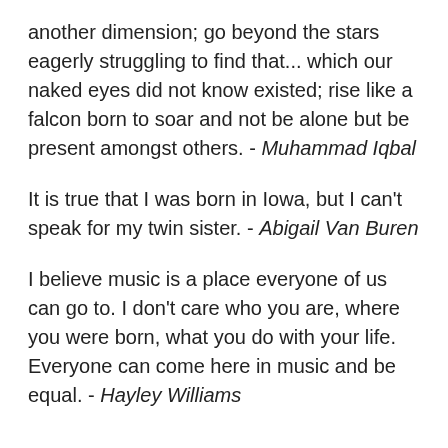another dimension; go beyond the stars eagerly struggling to find that... which our naked eyes did not know existed; rise like a falcon born to soar and not be alone but be present amongst others. - Muhammad Iqbal
It is true that I was born in Iowa, but I can't speak for my twin sister. - Abigail Van Buren
I believe music is a place everyone of us can go to. I don't care who you are, where you were born, what you do with your life. Everyone can come here in music and be equal. - Hayley Williams